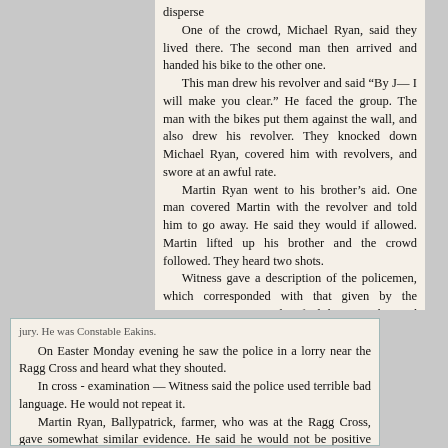disperse
    One of the crowd, Michael Ryan, said they lived there. The second man then arrived and handed his bike to the other one.
    This man drew his revolver and said "By J— I will make you clear." He faced the group. The man with the bikes put them against the wall, and also drew his revolver. They knocked down Michael Ryan, covered him with revolvers, and swore at an awful rate.
    Martin Ryan went to his brother's aid. One man covered Martin with the revolver and told him to go away. He said they would if allowed. Martin lifted up his brother and the crowd followed. They heard two shots.
    Witness gave a description of the policemen, which corresponded with that given by the previous witness. He identified the man who used the expression and threatened to disperse the crowd. The man was a constable, whom witness pointed out to the jury. He was Constable Eakins.
On Easter Monday evening he saw the police in a lorry near the Ragg Cross and heard what they shouted.
    In cross - examination — Witness said the police used terrible bad language. He would not repeat it.
    Martin Ryan, Ballypatrick, farmer, who was at the Ragg Cross, gave somewhat similar evidence. He said he would not be positive about the names of the police.
    Cross - examined — Witness said he declined to give Sergt. Foodey any informa-